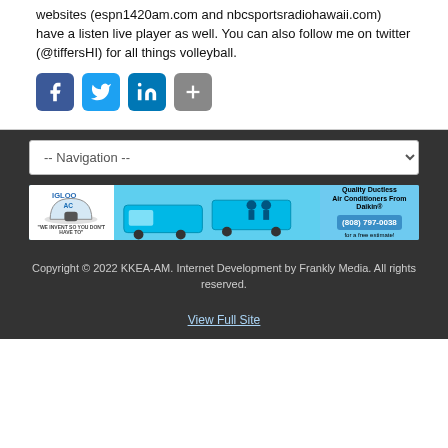websites (espn1420am.com and nbcsportsradiohawaii.com) have a listen live player as well. You can also follow me on twitter (@tiffersHI) for all things volleyball.
[Figure (infographic): Social media share buttons: Facebook (blue), Twitter (light blue), LinkedIn (dark blue), Share/plus (gray)]
-- Navigation --
[Figure (photo): Igloo AC advertisement banner showing Daikin ductless air conditioners, team photo, and phone number (808) 797-0038]
Copyright © 2022 KKEA-AM. Internet Development by Frankly Media. All rights reserved.
View Full Site